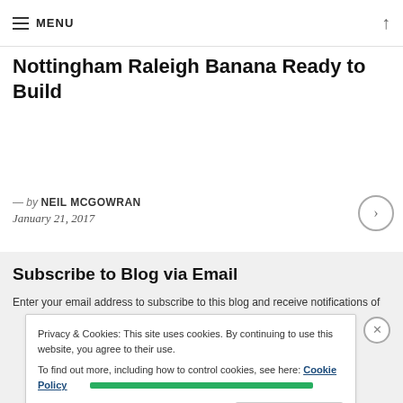MENU
Nottingham Raleigh Banana Ready to Build
— by NEIL MCGOWRAN
January 21, 2017
Subscribe to Blog via Email
Enter your email address to subscribe to this blog and receive notifications of
Privacy & Cookies: This site uses cookies. By continuing to use this website, you agree to their use.
To find out more, including how to control cookies, see here: Cookie Policy
Close and accept